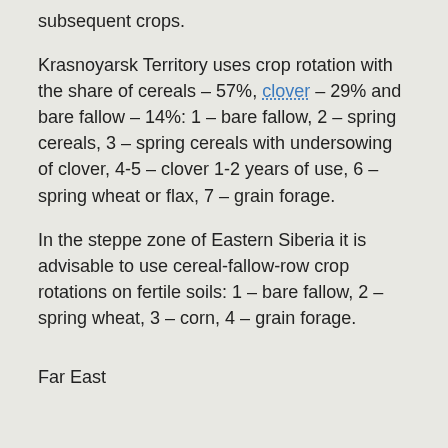subsequent crops.
Krasnoyarsk Territory uses crop rotation with the share of cereals – 57%, clover – 29% and bare fallow – 14%: 1 – bare fallow, 2 – spring cereals, 3 – spring cereals with undersowing of clover, 4-5 – clover 1-2 years of use, 6 – spring wheat or flax, 7 – grain forage.
In the steppe zone of Eastern Siberia it is advisable to use cereal-fallow-row crop rotations on fertile soils: 1 – bare fallow, 2 – spring wheat, 3 – corn, 4 – grain forage.
Far East